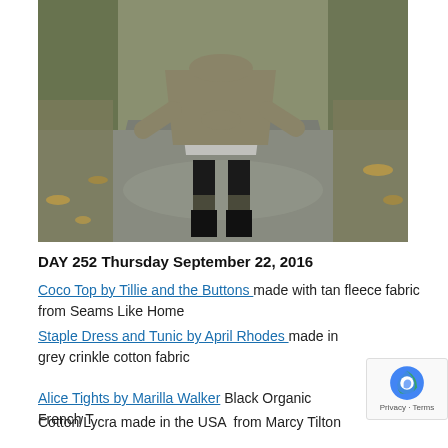[Figure (photo): A person standing on a wet gravel/asphalt road outdoors, wearing a tan/olive cowl-neck fleece top, grey tunic dress, black leggings, and dark tall boots. Trees and autumn foliage are visible in the background.]
DAY 252 Thursday September 22, 2016
Coco Top by Tillie and the Buttons made with tan fleece fabric from Seams Like Home
Staple Dress and Tunic by April Rhodes made in grey crinkle cotton fabric
Alice Tights by Marilla Walker Black Organic French Cotton/Lycra made in the USA from Marcy Tilton